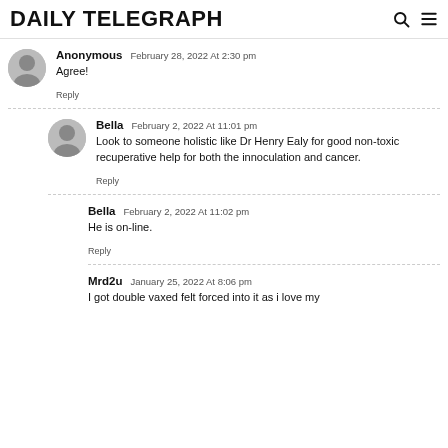DAILY TELEGRAPH
Anonymous February 28, 2022 At 2:30 pm
Agree!
Reply
Bella February 2, 2022 At 11:01 pm
Look to someone holistic like Dr Henry Ealy for good non-toxic recuperative help for both the innoculation and cancer.
Reply
Bella February 2, 2022 At 11:02 pm
He is on-line.
Reply
Mrd2u January 25, 2022 At 8:06 pm
I got double vaxed felt forced into it as i love my